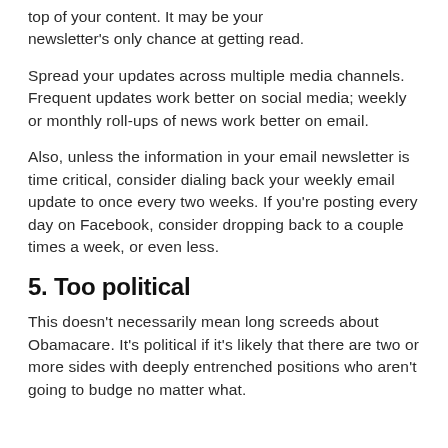top of your content. It may be your newsletter's only chance at getting read.
Spread your updates across multiple media channels. Frequent updates work better on social media; weekly or monthly roll-ups of news work better on email.
Also, unless the information in your email newsletter is time critical, consider dialing back your weekly email update to once every two weeks. If you're posting every day on Facebook, consider dropping back to a couple times a week, or even less.
5. Too political
This doesn't necessarily mean long screeds about Obamacare. It's political if it's likely that there are two or more sides with deeply entrenched positions who aren't going to budge no matter what.